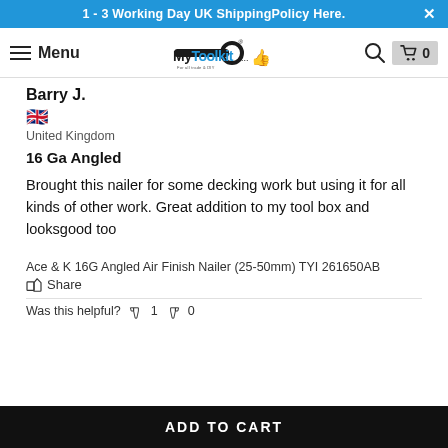1 - 3 Working Day UK ShippingPolicy Here.
Menu | MyToolkit logo | Search | Cart 0
Barry J.
[Figure (illustration): UK flag emoji]
United Kingdom
16 Ga Angled
Brought this nailer for some decking work but using it for all kinds of other work. Great addition to my tool box and looksgood too
Ace & K 16G Angled Air Finish Nailer (25-50mm) TYI 261650AB
Share
Was this helpful? 👍 1 👎 0
ADD TO CART